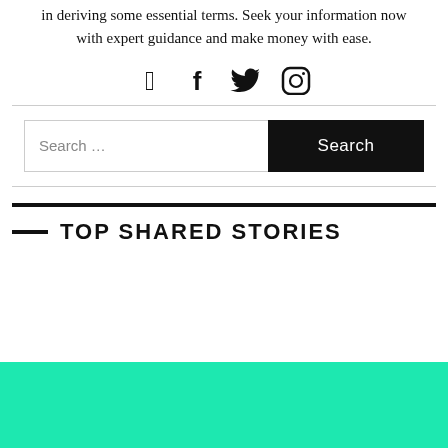in deriving some essential terms. Seek your information now with expert guidance and make money with ease.
[Figure (infographic): Social media icons: Facebook, Twitter, Instagram]
Search …
— TOP SHARED STORIES
[Figure (other): Teal/turquoise colored block at bottom of page]